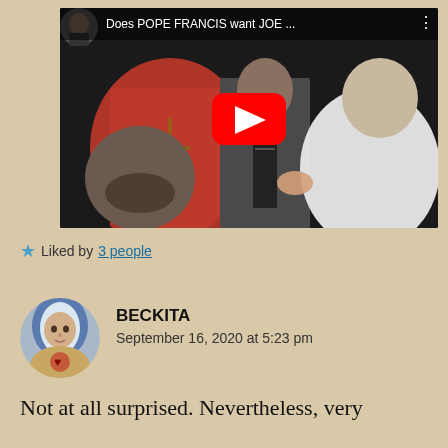[Figure (screenshot): YouTube video thumbnail showing the title 'Does POPE FRANCIS want JOE ...' with images of a man in a red cardinal robe, Joe Biden, and Pope Francis; a red YouTube play button is visible in the center; a small avatar of a man appears in the top left corner of the thumbnail.]
Liked by 3 people
[Figure (photo): Circular avatar showing an illustration of the Virgin Mary with a blue veil and a sacred heart.]
BECKITA
September 16, 2020 at 5:23 pm
Not at all surprised. Nevertheless, very